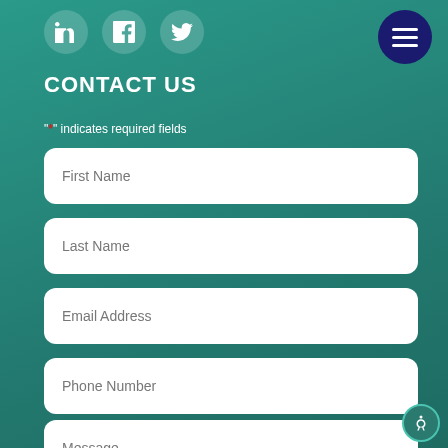[Figure (illustration): Social media icons for LinkedIn, Facebook, and Twitter in circular white-on-teal style]
[Figure (illustration): Dark navy circular hamburger menu button with three white horizontal lines]
CONTACT US
"*" indicates required fields
First Name
Last Name
Email Address
Phone Number
Message